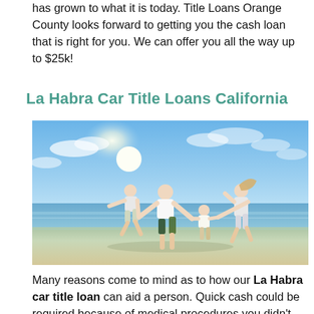has grown to what it is today. Title Loans Orange County looks forward to getting you the cash loan that is right for you. We can offer you all the way up to $25k!
La Habra Car Title Loans California
[Figure (photo): A family of four (man, woman, and two children) jumping joyfully on a beach with bright blue sky and ocean in the background.]
Many reasons come to mind as to how our La Habra car title loan can aid a person. Quick cash could be required because of medical procedures you didn't expect. Our car